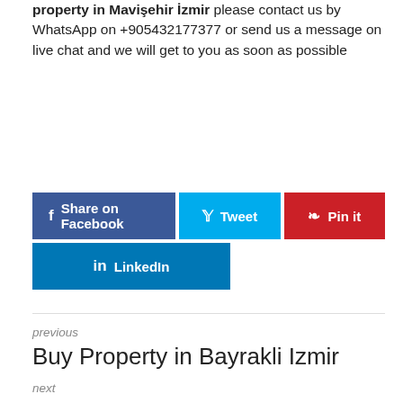property in Mavişehir İzmir please contact us by WhatsApp on +905432177377 or send us a message on live chat and we will get to you as soon as possible
[Figure (infographic): Social sharing buttons: Share on Facebook (blue), Tweet (light blue), Pin it (red), LinkedIn (dark blue)]
previous
Buy Property in Bayrakli Izmir
next
Buy Property in Cesme